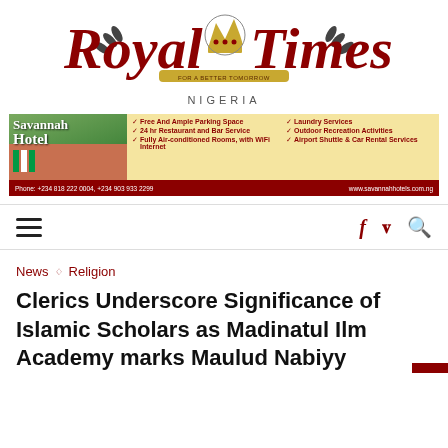[Figure (logo): Royal Times Nigeria newspaper masthead logo with crown emblem, red serif text 'Royal Times' and 'NIGERIA' below]
[Figure (infographic): Savannah Hotel advertisement banner listing amenities: Free And Ample Parking Space, 24hr Restaurant and Bar Service, Fully Air-conditioned Rooms with WiFi Internet, Laundry Services, Outdoor Recreation Activities, Airport Shuttle & Car Rental Services. Phone: +234 818 222 0004, +234 903 933 2299. www.savannahhotels.com.ng]
News ◇ Religion
Clerics Underscore Significance of Islamic Scholars as Madinatul Ilm Academy marks Maulud Nabiyy